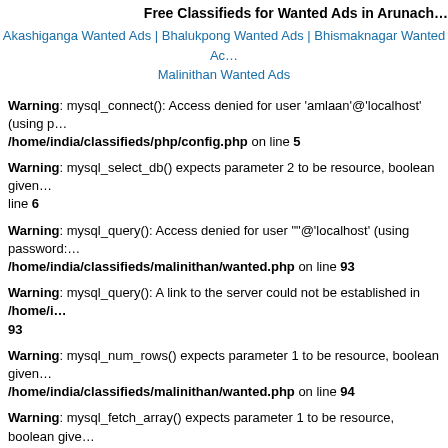Free Classifieds for Wanted Ads in Arunach…
Akashiganga Wanted Ads | Bhalukpong Wanted Ads | Bhismaknagar Wanted Ac… Malinithan Wanted Ads
Warning: mysql_connect(): Access denied for user 'amlaan'@'localhost' (using p… /home/india/classifieds/php/config.php on line 5
Warning: mysql_select_db() expects parameter 2 to be resource, boolean given… line 6
Warning: mysql_query(): Access denied for user ""@'localhost' (using password:… /home/india/classifieds/malinithan/wanted.php on line 93
Warning: mysql_query(): A link to the server could not be established in /home/i… 93
Warning: mysql_num_rows() expects parameter 1 to be resource, boolean given… /home/india/classifieds/malinithan/wanted.php on line 94
Warning: mysql_fetch_array() expects parameter 1 to be resource, boolean give… /home/india/classifieds/malinithan/wanted.php on line 96
| Advertisement | Sub… |
| --- | --- |
| Warning: mysql_query() expects parameter 2 to be resource, boolean given in… |  |
| Warning: mysql_fetch_array() expects parameter 1 to be resource, null given in… |  |